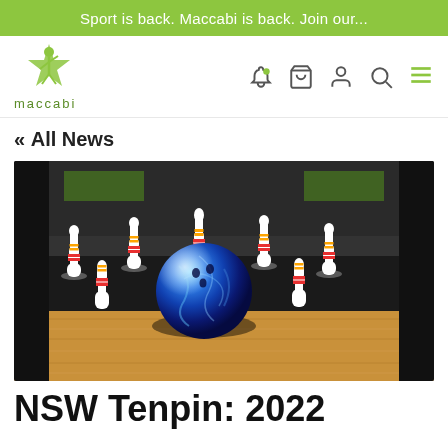Sport is back. Maccabi is back. Join our...
[Figure (logo): Maccabi logo — stylized green figure with star, text 'maccabi' below]
« All News
[Figure (photo): Bowling pins and a blue marbled bowling ball on a wooden lane against a dark background]
NSW Tenpin: 2022